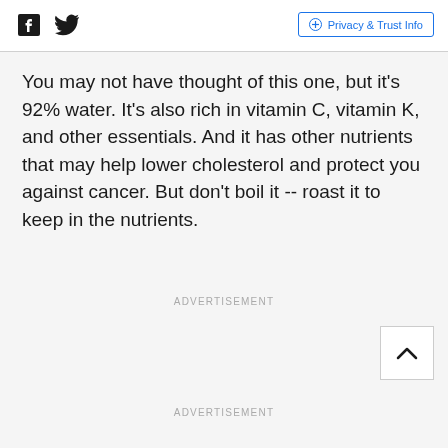Facebook | Twitter | Privacy & Trust Info
You may not have thought of this one, but it's 92% water. It's also rich in vitamin C, vitamin K, and other essentials. And it has other nutrients that may help lower cholesterol and protect you against cancer. But don't boil it -- roast it to keep in the nutrients.
ADVERTISEMENT
ADVERTISEMENT